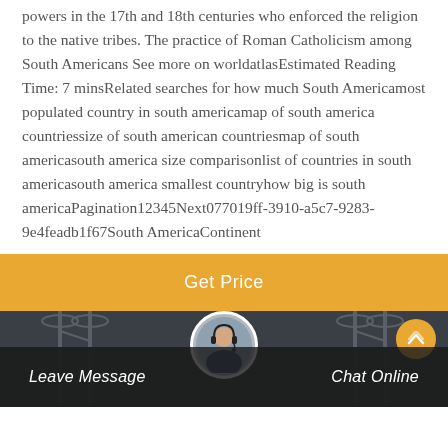powers in the 17th and 18th centuries who enforced the religion to the native tribes. The practice of Roman Catholicism among South Americans See more on worldatlasEstimated Reading Time: 7 minsRelated searches for how much South Americamost populated country in south americamap of south america countriessize of south american countriesmap of south americasouth america size comparisonlist of countries in south americasouth america smallest countryhow big is south americaPagination12345Next077019ff-3910-a5c7-9283-9e4feadb1f67South AmericaContinent
[Figure (other): Orange 'Get Price' button bar]
[Figure (photo): Dark footer area with industrial tower background, customer service avatar in center circle, 'Leave Message' on left, 'Chat Online' on right, scroll-to-top orange button top right]